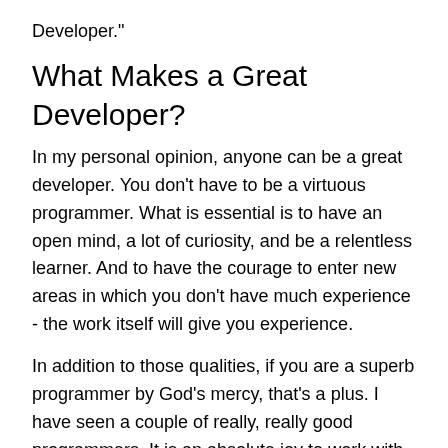Developer."
What Makes a Great Developer?
In my personal opinion, anyone can be a great developer. You don’t have to be a virtuous programmer. What is essential is to have an open mind, a lot of curiosity, and be a relentless learner. And to have the courage to enter new areas in which you don’t have much experience - the work itself will give you experience.
In addition to those qualities, if you are a superb programmer by God’s mercy, that’s a plus. I have seen a couple of really, really good programmers. It is an absolute joy to work with a virtuous programmer since you learn fast with that kind of mentorship.
Everything is Interpretation
Working with a really, really good programmer can also be